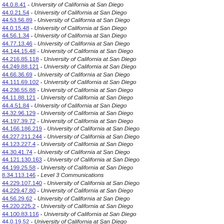44.0.8.41 - University of California at San Diego
44.0.21.54 - University of California at San Diego
44.53.56.89 - University of California at San Diego
44.0.15.48 - University of California at San Diego
44.56.1.34 - University of California at San Diego
44.77.13.46 - University of California at San Diego
44.144.15.48 - University of California at San Diego
44.216.85.118 - University of California at San Diego
44.249.88.121 - University of California at San Diego
44.66.36.69 - University of California at San Diego
44.111.69.102 - University of California at San Diego
44.236.55.88 - University of California at San Diego
44.11.88.121 - University of California at San Diego
44.4.51.84 - University of California at San Diego
44.32.96.129 - University of California at San Diego
44.197.39.72 - University of California at San Diego
44.166.186.219 - University of California at San Diego
44.227.211.244 - University of California at San Diego
44.123.227.4 - University of California at San Diego
44.30.41.74 - University of California at San Diego
44.121.130.163 - University of California at San Diego
44.199.25.58 - University of California at San Diego
8.34.113.146 - Level 3 Communications
44.229.107.140 - University of California at San Diego
44.229.47.80 - University of California at San Diego
44.56.29.62 - University of California at San Diego
44.220.225.2 - University of California at San Diego
44.100.83.116 - University of California at San Diego
44.0.19.52 - University of California at San Diego
44.76.56.89 - University of California at San Diego